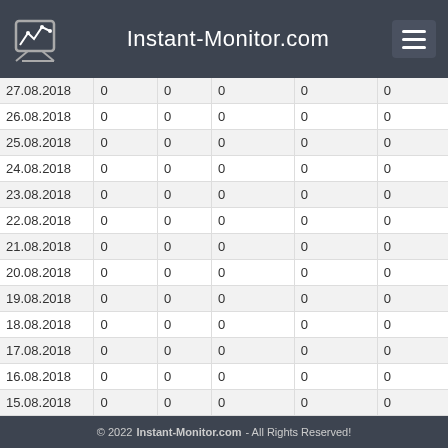Instant-Monitor.com
| Date | 0 | 0 | 0 | 0 | 0 |
| --- | --- | --- | --- | --- | --- |
| 27.08.2018 | 0 | 0 | 0 | 0 | 0 |
| 26.08.2018 | 0 | 0 | 0 | 0 | 0 |
| 25.08.2018 | 0 | 0 | 0 | 0 | 0 |
| 24.08.2018 | 0 | 0 | 0 | 0 | 0 |
| 23.08.2018 | 0 | 0 | 0 | 0 | 0 |
| 22.08.2018 | 0 | 0 | 0 | 0 | 0 |
| 21.08.2018 | 0 | 0 | 0 | 0 | 0 |
| 20.08.2018 | 0 | 0 | 0 | 0 | 0 |
| 19.08.2018 | 0 | 0 | 0 | 0 | 0 |
| 18.08.2018 | 0 | 0 | 0 | 0 | 0 |
| 17.08.2018 | 0 | 0 | 0 | 0 | 0 |
| 16.08.2018 | 0 | 0 | 0 | 0 | 0 |
| 15.08.2018 | 0 | 0 | 0 | 0 | 0 |
| 14.08.2018 | 0 | 0 | 0 | 0 | 0 |
| 13.08.2018 | 0 | 0 | 0 | 0 | 0 |
© 2022 Instant-Monitor.com - All Rights Reserved!